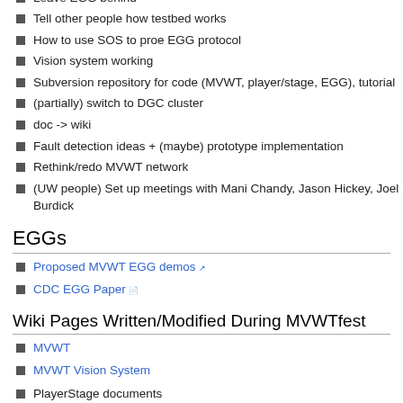Dynamic, flowing (loops, circles)
Leave EGG behind
Tell other people how testbed works
How to use SOS to proe EGG protocol
Vision system working
Subversion repository for code (MVWT, player/stage, EGG), tutorial
(partially) switch to DGC cluster
doc -> wiki
Fault detection ideas + (maybe) prototype implementation
Rethink/redo MVWT network
(UW people) Set up meetings with Mani Chandy, Jason Hickey, Joel Burdick
EGGs
Proposed MVWT EGG demos
CDC EGG Paper
Wiki Pages Written/Modified During MVWTfest
MVWT
MVWT Vision System
PlayerStage documents
PlayerStage 2.0.3